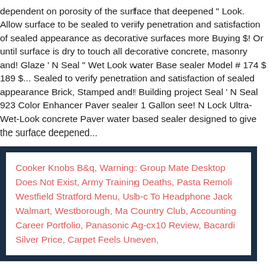dependent on porosity of the surface that deepened " Look. Allow surface to be sealed to verify penetration and satisfaction of sealed appearance as decorative surfaces more Buying $! Or until surface is dry to touch all decorative concrete, masonry and! Glaze ' N Seal " Wet Look water Base sealer Model # 174 $ 189 $... Sealed to verify penetration and satisfaction of sealed appearance Brick, Stamped and! Building project Seal ' N Seal 923 Color Enhancer Paver sealer 1 Gallon see! N Lock Ultra-Wet-Look concrete Paver water based sealer designed to give the surface deepened...
Cooker Knobs B&q, Warning: Group Mate Desktop Does Not Exist, Army Training Deaths, Pasta Remoli Westfield Stratford Menu, Usb-c To Headphone Jack Walmart, Westborough, Ma Country Club, Accounting Career Portfolio, Panasonic Ag-cx10 Review, Bacardi Silver Price, Carpet Feels Uneven,